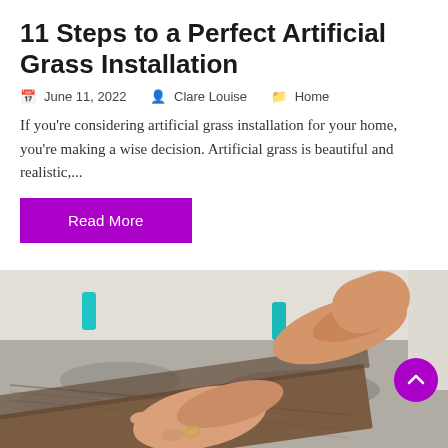11 Steps to a Perfect Artificial Grass Installation
June 11, 2022   Clare Louise   Home
If you're considering artificial grass installation for your home, you're making a wise decision. Artificial grass is beautiful and realistic,...
Read More
[Figure (photo): Hands installing wood-look vinyl plank flooring near a wall corner, with teal spacers visible. A purple scroll-to-top button is overlaid in the bottom right.]